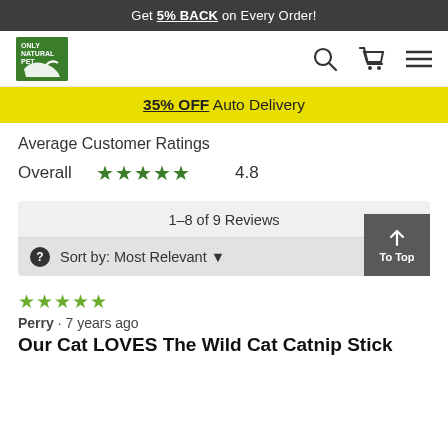Get 5% BACK on Every Order!
[Figure (logo): Only Natural Pet logo - green square with white text and running animal graphic]
35% OFF Auto Delivery
Average Customer Ratings
Overall ★★★★★ 4.8
1–8 of 9 Reviews
Sort by: Most Relevant
★★★★★
Perry · 7 years ago
Our Cat LOVES The Wild Cat Catnip Stick